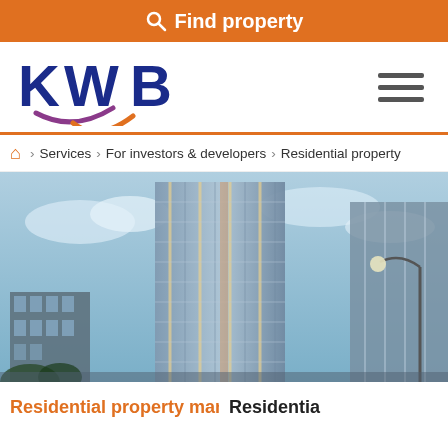Find property
[Figure (logo): KWB company logo with blue bold letters KWB and an orange/purple swoosh checkmark beneath]
Navigation menu (hamburger icon)
Home > Services > For investors & developers > Residential property
[Figure (photo): Tall modern residential high-rise building photographed from below against a blue cloudy sky, with a street lamp visible on the right side]
Residential property management     Residential